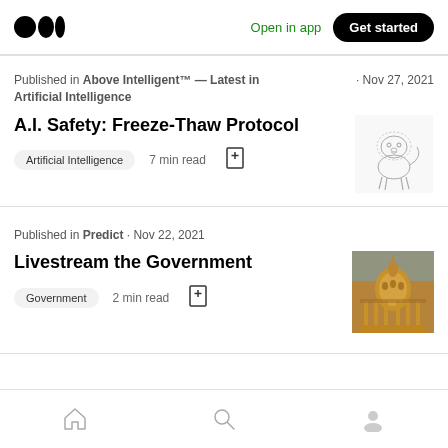Medium logo · Open in app · Get started
Published in Above Intelligent™ — Latest in Artificial Intelligence · Nov 27, 2021
A.I. Safety: Freeze-Thaw Protocol
Artificial Intelligence  7 min read
[Figure (illustration): Sketch illustration of a robotic or mechanical lion/creature]
Published in Predict · Nov 22, 2021
Livestream the Government
Government  2 min read
[Figure (photo): Photo of a government building dome, warm orange/brown tones, architectural columns visible]
Home · Search · Profile